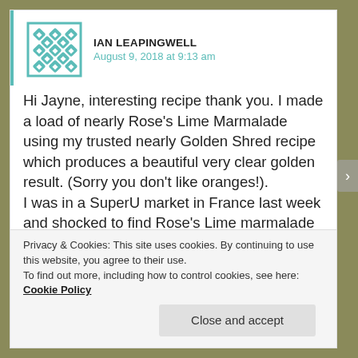IAN LEAPINGWELL
August 9, 2018 at 9:13 am
Hi Jayne, interesting recipe thank you. I made a load of nearly Rose's Lime Marmalade using my trusted nearly Golden Shred recipe which produces a beautiful very clear golden result. (Sorry you don't like oranges!).
I was in a SuperU market in France last week and shocked to find Rose's Lime marmalade and Frank Cooper's Vintage Oxford marmalade on the shelf. It was positively a Wow! Moment. Born in Derby in '52 it
Privacy & Cookies: This site uses cookies. By continuing to use this website, you agree to their use.
To find out more, including how to control cookies, see here: Cookie Policy
Close and accept